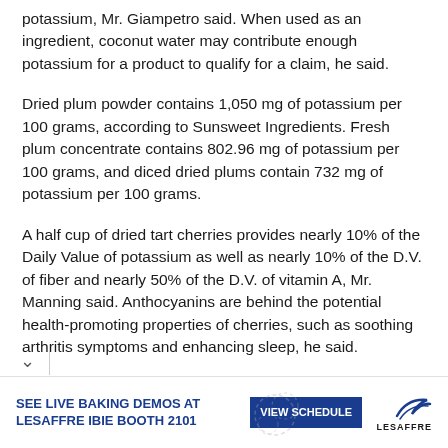potassium, Mr. Giampetro said. When used as an ingredient, coconut water may contribute enough potassium for a product to qualify for a claim, he said.
Dried plum powder contains 1,050 mg of potassium per 100 grams, according to Sunsweet Ingredients. Fresh plum concentrate contains 802.96 mg of potassium per 100 grams, and diced dried plums contain 732 mg of potassium per 100 grams.
A half cup of dried tart cherries provides nearly 10% of the Daily Value of potassium as well as nearly 10% of the D.V. of fiber and nearly 50% of the D.V. of vitamin A, Mr. Manning said. Anthocyanins are behind the potential health-promoting properties of cherries, such as soothing arthritis symptoms and enhancing sleep, he said.
[Figure (infographic): Advertisement banner for Lesaffre: 'SEE LIVE BAKING DEMOS AT LESAFFRE IBIE BOOTH 2101' with a blue 'VIEW SCHEDULE' button and the Lesaffre logo.]